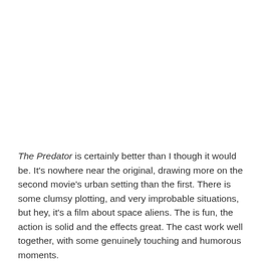The Predator is certainly better than I though it would be. It's nowhere near the original, drawing more on the second movie's urban setting than the first. There is some clumsy plotting, and very improbable situations, but hey, it's a film about space aliens. The is fun, the action is solid and the effects great. The cast work well together, with some genuinely touching and humorous moments.
The Predator is great as a stand-alone movie, as well as a solid